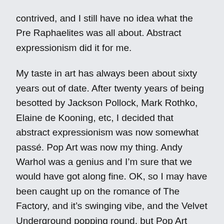contrived, and I still have no idea what the Pre Raphaelites was all about. Abstract expressionism did it for me.
My taste in art has always been about sixty years out of date. After twenty years of being besotted by Jackson Pollock, Mark Rothko, Elaine de Kooning, etc, I decided that abstract expressionism was now somewhat passé. Pop Art was now my thing. Andy Warhol was a genius and I'm sure that we would have got along fine. OK, so I may have been caught up on the romance of The Factory, and it's swinging vibe, and the Velvet Underground popping round, but Pop Art seemed to say more to me than the abstract of abstract expressionism, even if the ideals of Pop Art seemed less a social commentary, and more an abstractness than abstract expressionism. The throwaway essence of Warhol, Rauschenberg, Lichtenstein and, indeed, Gilbert and George, spoke more of the world I saw, in much the same way as the poetry of Frank O'Hara,